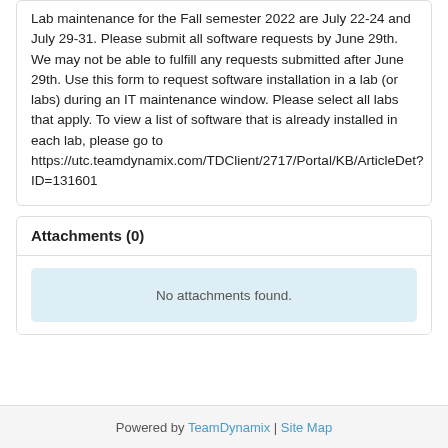Lab maintenance for the Fall semester 2022 are July 22-24 and July 29-31. Please submit all software requests by June 29th. We may not be able to fulfill any requests submitted after June 29th. Use this form to request software installation in a lab (or labs) during an IT maintenance window. Please select all labs that apply. To view a list of software that is already installed in each lab, please go to https://utc.teamdynamix.com/TDClient/2717/Portal/KB/ArticleDet?ID=131601
Attachments (0)
No attachments found.
Powered by TeamDynamix | Site Map